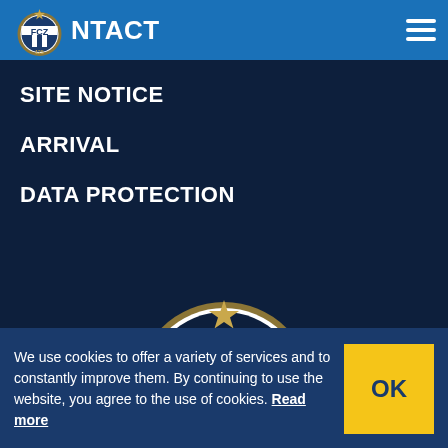[Figure (logo): FC Zürich (FCZ) club logo in top-left header bar — circular badge with FCZ text and stripes]
CONTACT
SITE NOTICE
ARRIVAL
DATA PROTECTION
[Figure (logo): FC Zürich (FCZ) large centered club logo — circular badge with gold star, FCZ text, blue and white stripes, gold ring]
We use cookies to offer a variety of services and to constantly improve them. By continuing to use the website, you agree to the use of cookies. Read more